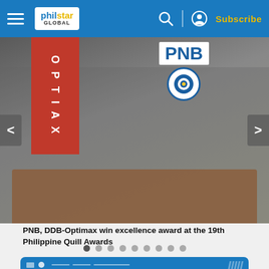philstar GLOBAL — Subscribe
[Figure (photo): Group photo of PNB and DDB-Optimax team members in a conference room, with red OPTIAX branding on the left wall and PNB logo/signage on the right wall. People seated and standing around a wooden table.]
PNB, DDB-Optimax win excellence award at the 19th Philippine Quill Awards
This site uses cookies. By continuing to browse the site, you are agreeing to our use of cookies.